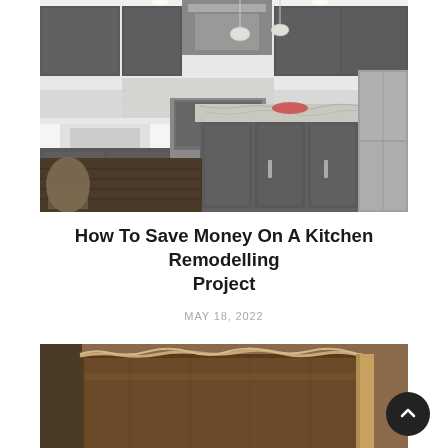[Figure (photo): Modern kitchen interior with dark gray cabinetry, granite island countertop, stainless steel range and hood, pendant lights, and hardwood flooring]
How To Save Money On A Kitchen Remodelling Project
MAY 18, 2022
[Figure (photo): Close-up of wooden cabinet or furniture piece with rough/unfinished edge detail]